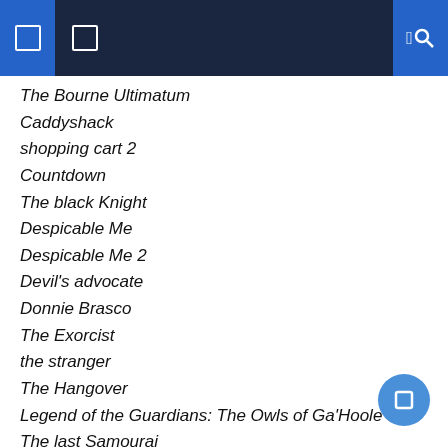The Bourne Ultimatum
Caddyshack
shopping cart 2
Countdown
The black Knight
Despicable Me
Despicable Me 2
Devil's advocate
Donnie Brasco
The Exorcist
the stranger
The Hangover
Legend of the Guardians: The Owls of Ga'Hoole
The last Samourai
The lucky
The negotiator